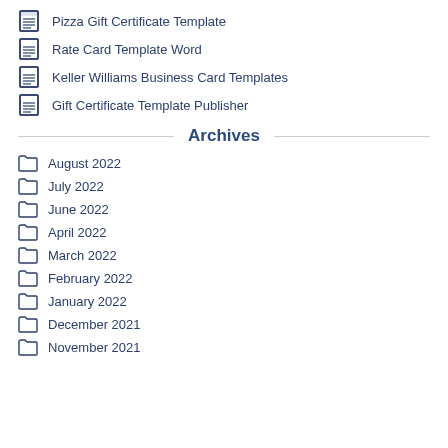Pizza Gift Certificate Template
Rate Card Template Word
Keller Williams Business Card Templates
Gift Certificate Template Publisher
Archives
August 2022
July 2022
June 2022
April 2022
March 2022
February 2022
January 2022
December 2021
November 2021